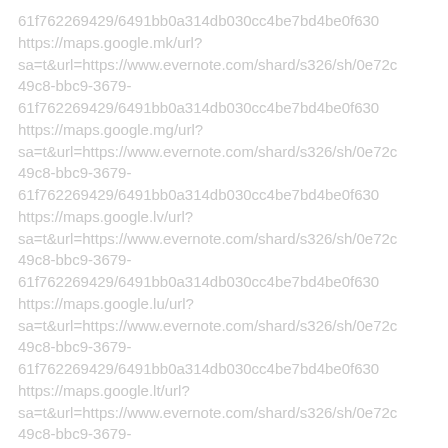61f762269429/6491bb0a314db030cc4be7bd4be0f630
https://maps.google.mk/url?
sa=t&url=https://www.evernote.com/shard/s326/sh/0e72c49c8-bbc9-3679-
61f762269429/6491bb0a314db030cc4be7bd4be0f630
https://maps.google.mg/url?
sa=t&url=https://www.evernote.com/shard/s326/sh/0e72c49c8-bbc9-3679-
61f762269429/6491bb0a314db030cc4be7bd4be0f630
https://maps.google.lv/url?
sa=t&url=https://www.evernote.com/shard/s326/sh/0e72c49c8-bbc9-3679-
61f762269429/6491bb0a314db030cc4be7bd4be0f630
https://maps.google.lu/url?
sa=t&url=https://www.evernote.com/shard/s326/sh/0e72c49c8-bbc9-3679-
61f762269429/6491bb0a314db030cc4be7bd4be0f630
https://maps.google.lt/url?
sa=t&url=https://www.evernote.com/shard/s326/sh/0e72c49c8-bbc9-3679-
49c8-bbc9-3679-